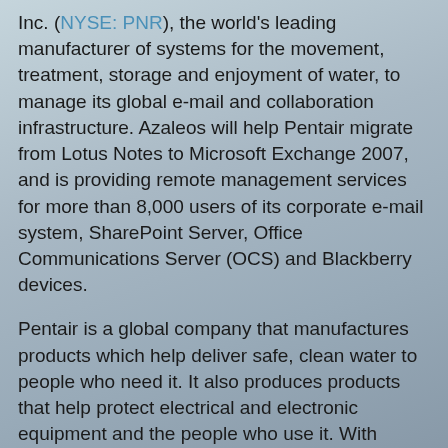Inc. (NYSE: PNR), the world's leading manufacturer of systems for the movement, treatment, storage and enjoyment of water, to manage its global e-mail and collaboration infrastructure. Azaleos will help Pentair migrate from Lotus Notes to Microsoft Exchange 2007, and is providing remote management services for more than 8,000 users of its corporate e-mail system, SharePoint Server, Office Communications Server (OCS) and Blackberry devices.
Pentair is a global company that manufactures products which help deliver safe, clean water to people who need it. It also produces products that help protect electrical and electronic equipment and the people who use it. With 14,000 employees worldwide, Pentair generated 2008 sales of $3.35 billion. The company selected Azaleos to help it move from an aging and costly Lotus Notes platform to Microsoft Exchange, and handle day-to-day management of the new e-mail and collaboration system. This allows Pentair’s internal IT resources to focus on supporting the company’s core manufacturing operations.
Full News for PNR